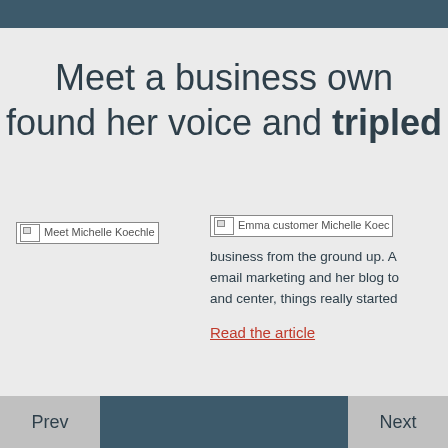Meet a business owner who found her voice and tripled
[Figure (photo): Broken image placeholder labeled 'Meet Michelle Koechle']
[Figure (photo): Broken image placeholder for Emma customer Michelle Koechle article illustration]
Emma customer Michelle Koec... business from the ground up. A... email marketing and her blog to... and center, things really started...
Read the article
Prev    Next